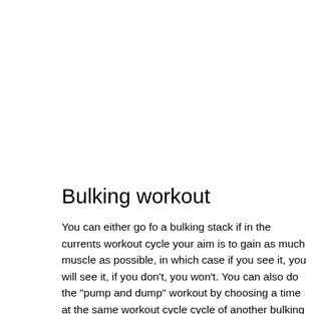Bulking workout
You can either go fo a bulking stack if in the currents workout cycle your aim is to gain as much muscle as possible, in which case if you see it, you will see it, if you don't, you won't. You can also do the "pump and dump" workout by choosing a time at the same workout cycle cycle of another bulking session. This will let you increase your